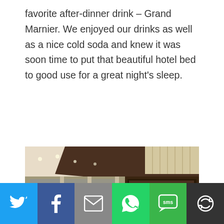favorite after-dinner drink – Grand Marnier. We enjoyed our drinks as well as a nice cold soda and knew it was soon time to put that beautiful hotel bed to good use for a great night's sleep.
[Figure (photo): Hotel lobby interior with modern decor, recessed lighting, potted palm tree, marble floors, and guests seated on white sofas and chairs.]
[Figure (infographic): Social sharing bar with buttons: Twitter (blue), Facebook (dark blue), Email/envelope (grey), WhatsApp (green), SMS (green), More/share (dark).]